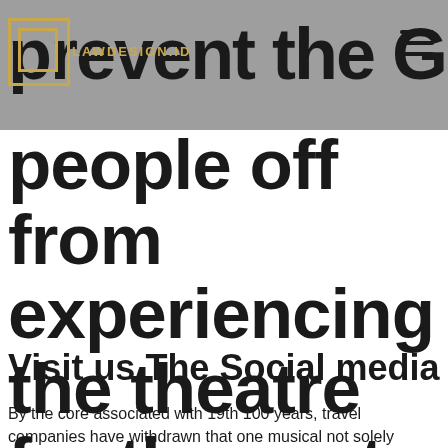prevent the Greek
people off from experiencing the theatre for the next 100 years.
Visit us The Social media
By the core associated with 19th 100 years, travel companies have withdrawn that one musical not solely